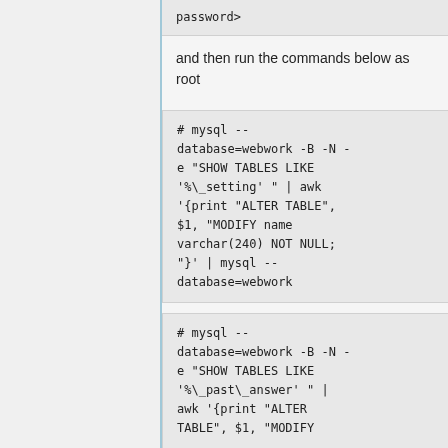password>
and then run the commands below as root
# mysql --database=webwork -B -N -e "SHOW TABLES LIKE '%\_setting' " | awk '{print "ALTER TABLE", $1, "MODIFY name varchar(240) NOT NULL;"}'  | mysql --database=webwork
# mysql --database=webwork -B -N -e "SHOW TABLES LIKE '%\_past\_answer' " | awk '{print "ALTER TABLE", $1, "MODIFY